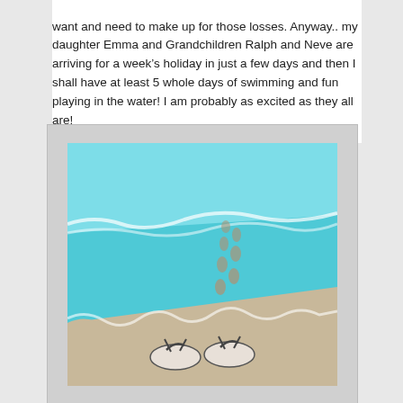want and need to make up for those losses. Anyway.. my daughter Emma and Grandchildren Ralph and Neve are arriving for a week's holiday in just a few days and then I shall have at least 5 whole days of swimming and fun playing in the water! I am probably as excited as they all are!
[Figure (illustration): Illustration of a sandy beach with turquoise ocean waves, footprints in the sand leading down to the water, and a pair of flip-flop sandals in the foreground.]